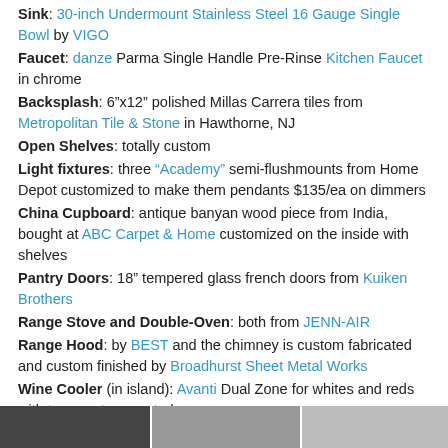Sink: 30-inch Undermount Stainless Steel 16 Gauge Single Bowl by VIGO
Faucet: danze Parma Single Handle Pre-Rinse Kitchen Faucet in chrome
Backsplash: 6"x12" polished Millas Carrera tiles from Metropolitan Tile & Stone in Hawthorne, NJ
Open Shelves: totally custom
Light fixtures: three "Academy" semi-flushmounts from Home Depot customized to make them pendants $135/ea on dimmers
China Cupboard: antique banyan wood piece from India, bought at ABC Carpet & Home customized on the inside with shelves
Pantry Doors: 18" tempered glass french doors from Kuiken Brothers
Range Stove and Double-Oven: both from JENN-AIR
Range Hood: by BEST and the chimney is custom fabricated and custom finished by Broadhurst Sheet Metal Works
Wine Cooler (in island): Avanti Dual Zone for whites and reds with temperature control
Floors: Stained black bamboo flooring "Black Mamba" from Lumber Liquidators in Hackensack, NJ
Windows are original
Shingle-style architect: Pam Watt McBride, phone: 201.805.3825
[Figure (photo): Thumbnail strip of kitchen photos at the bottom of the page]